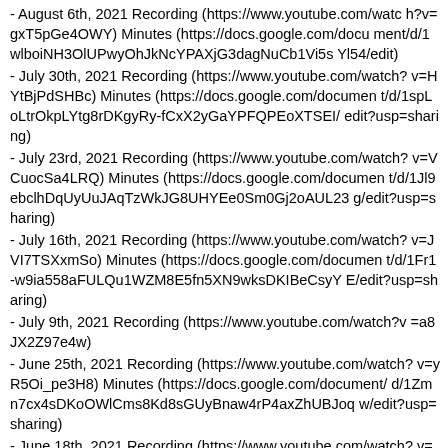- August 6th, 2021 Recording (https://www.youtube.com/watch?v=gxT5pGe4OWY) Minutes (https://docs.google.com/document/d/1wlboiNH3OlUPwyOhJkNcYPAXjG3dagNuCb1Vi5sYl54/edit)
- July 30th, 2021 Recording (https://www.youtube.com/watch?v=HYtBjPdSHBc) Minutes (https://docs.google.com/document/d/1spLoLtrOkpLYtg8rDKgyRy-fCxX2yGaYPFQPEoXTSEI/edit?usp=sharing)
- July 23rd, 2021 Recording (https://www.youtube.com/watch?v=VCuocSa4LRQ) Minutes (https://docs.google.com/document/d/1Jl9ebclhDqUyUuJAqTzWkJG8UHYEe0Sm0Gj2oAUL23g/edit?usp=sharing)
- July 16th, 2021 Recording (https://www.youtube.com/watch?v=JVI7TSXxmSo) Minutes (https://docs.google.com/document/d/1Fr1-w9ia558aFULQu1WZM8E5fn5XN9wksDKIBeCsyYE/edit?usp=sharing)
- July 9th, 2021 Recording (https://www.youtube.com/watch?v=a8JX2Z97e4w)
- June 25th, 2021 Recording (https://www.youtube.com/watch?v=yR5Oi_pe3H8) Minutes (https://docs.google.com/document/d/1Zmn7cx4sDKoOWlCms8Kd8sGUyBnaw4rP4axZhUBJoqw/edit?usp=sharing)
- June 18th, 2021 Recording (https://www.youtube.com/watch?v=eHkh_1Yh5sg) Minutes (https://docs.google.com/document/d/1SsC1p8AqZ62EpU0HJ71ZtX18TVBiI5Rcc238Uy0Cy3M/...